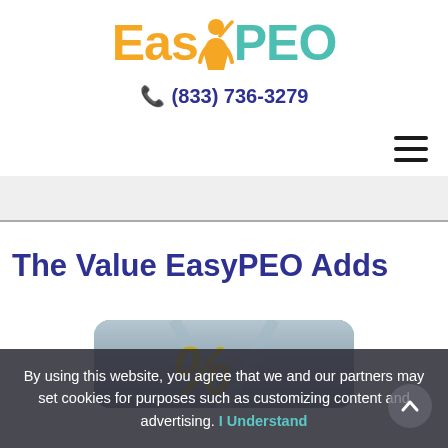[Figure (logo): EasyPEO logo with orange 'Easy', a person figure icon, and teal 'PEO' text]
📞 (833) 736-3279
[Figure (other): Hamburger menu icon (three horizontal lines)]
The Value EasyPEO Adds
[Figure (photo): Photo showing a percent sign in gold color against a business shirt background]
By using this website, you agree that we and our partners may set cookies for purposes such as customizing content and advertising. I Understand